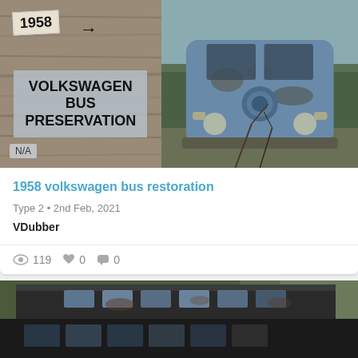[Figure (photo): Composite image: left half shows a wooden board background with a handwritten '1958' label and arrow, overlaid with a grey panel reading 'VOLKSWAGEN BUS PRESERVATION' and an 'N/A' badge at bottom-left; right half shows a rusted, dilapidated 1958 VW bus front view outdoors.]
1958 volkswagen bus restoration
Type 2 • 2nd Feb, 2021
VDubber
119  ♥ 0  💬 0
[Figure (photo): Side view of a rusted, derelict VW bus (appears to be a longer model) with multiple windows along the roofline, parked outdoors among trees. The vehicle is heavily weathered and dark-colored.]